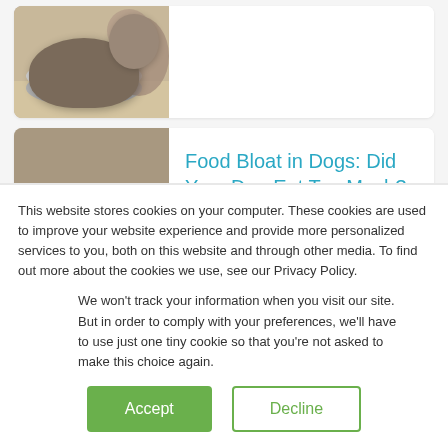[Figure (photo): Photo of a dog food bowl with kibble and a dog in the background, partially visible at the top of the page]
[Figure (photo): Photo of a pug dog lying down with its face resting on the floor, looking lethargic]
Food Bloat in Dogs: Did Your Dog Eat Too Much?
This website stores cookies on your computer. These cookies are used to improve your website experience and provide more personalized services to you, both on this website and through other media. To find out more about the cookies we use, see our Privacy Policy.
We won't track your information when you visit our site. But in order to comply with your preferences, we'll have to use just one tiny cookie so that you're not asked to make this choice again.